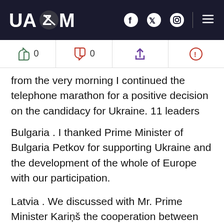UAZMI
from the very morning I continued the telephone marathon for a positive decision on the candidacy for Ukraine. 11 leaders today.
Bulgaria . I thanked Prime Minister of Bulgaria Petkov for supporting Ukraine and the development of the whole of Europe with our participation.
Latvia . We discussed with Mr. Prime Minister Kariņš the cooperation between our countries, between Ukraine and the European Union, as well as our joint opportunities to protect Europe from the crises that Russia organizes, including the food crisis.